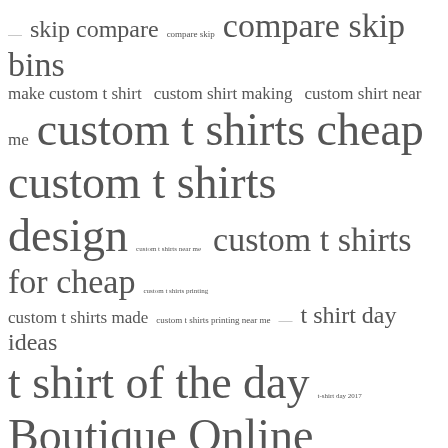[Figure (infographic): Tag cloud / word cloud containing search terms related to custom t-shirts, boutique shopping, anime, mattress sizes, and lifeguard courses, displayed in varying font sizes indicating relative frequency/importance.]